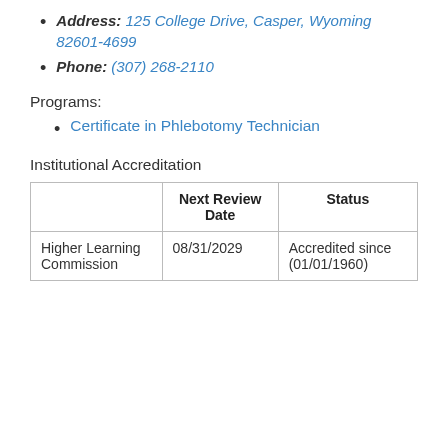Address: 125 College Drive, Casper, Wyoming 82601-4699
Phone: (307) 268-2110
Programs:
Certificate in Phlebotomy Technician
Institutional Accreditation
|  | Next Review Date | Status |
| --- | --- | --- |
| Higher Learning Commission | 08/31/2029 | Accredited since (01/01/1960) |